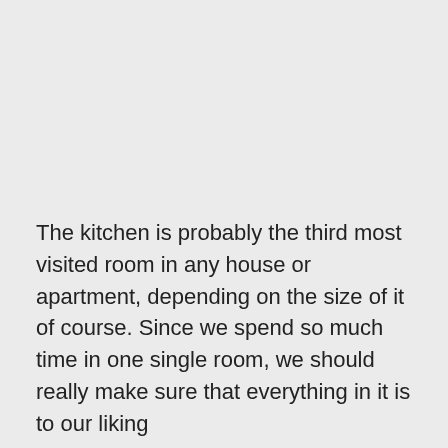The kitchen is probably the third most visited room in any house or apartment, depending on the size of it of course. Since we spend so much time in one single room, we should really make sure that everything in it is to our liking